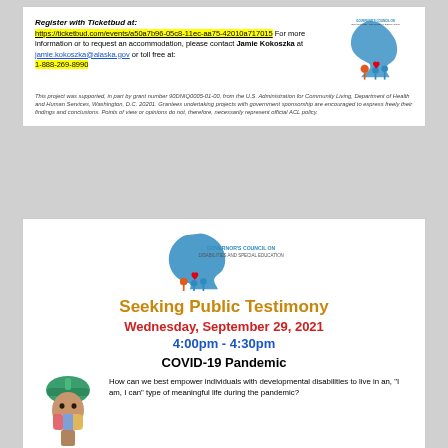Register with Ticketbud at: https://ticketbud.com/events/a50a7b96-05c8-11ec-aa75-42010a717015 For more information or to request an accommodation, please contact Jamie Kokoszka at jamie.kokoszka@alaska.gov or toll free at: 1-888-269-8990
[Figure (logo): Governor's Council on Disabilities and Special Education logo - Alaska silhouette with figures]
This project was supported, in part by grant number 90DNIQ0005-01-00, from the U.S. Administration for Community Living, Department of Health and Human Services, Washington, D.C. 20201. Grantees undertaking projects with government sponsorship are encouraged to express freely their findings and conclusions. Points of view or opinions do not, therefore, necessarily represent official ACL policy.
[Figure (logo): Governor's Council on Disabilities and Special Education logo centered]
Seeking Public Testimony
Wednesday, September 29, 2021
4:00pm - 4:30pm
COVID-19 Pandemic
[Figure (photo): Person wearing colorful mask and green hat]
How can we best empower individuals with developmental disabilities to live in an, "I am, I can" type of meaningful life during the pandemic?